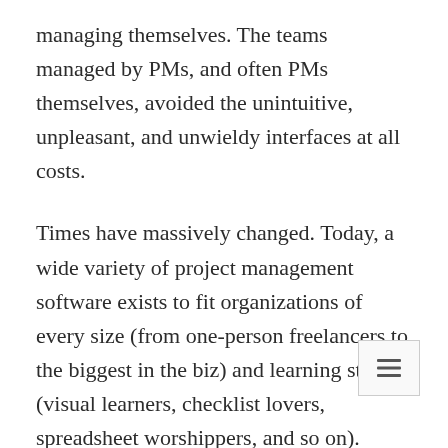managing themselves. The teams managed by PMs, and often PMs themselves, avoided the unintuitive, unpleasant, and unwieldy interfaces at all costs.
Times have massively changed. Today, a wide variety of project management software exists to fit organizations of every size (from one-person freelancers to the biggest in the biz) and learning styles (visual learners, checklist lovers, spreadsheet worshippers, and so on).
Four perennial favorites are Asana, Smartsheet, Trello, and Workfront. All offer strong cloud-based solutions. But not all are right for every...